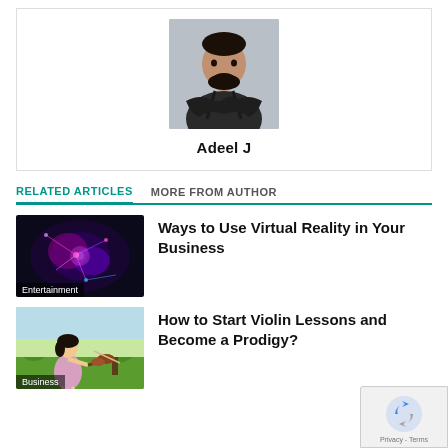[Figure (photo): Portrait photo of a man with beard in dark shirt with arms crossed, gray background]
Adeel J
RELATED ARTICLES   MORE FROM AUTHOR
[Figure (photo): Abstract digital art with blue and pink neural/galaxy imagery, labeled Entertainment]
Ways to Use Virtual Reality in Your Business
[Figure (photo): Young girl playing violin outdoors in a park, labeled Business]
How to Start Violin Lessons and Become a Prodigy?